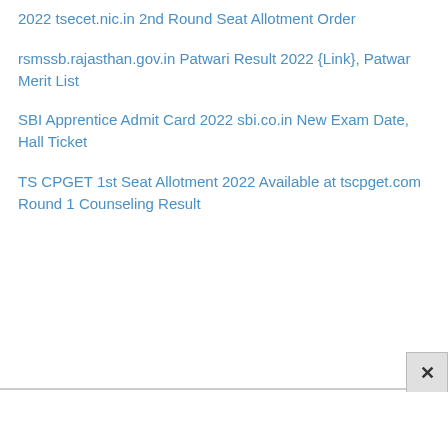2022 tsecet.nic.in 2nd Round Seat Allotment Order
rsmssb.rajasthan.gov.in Patwari Result 2022 {Link}, Patwar Merit List
SBI Apprentice Admit Card 2022 sbi.co.in New Exam Date, Hall Ticket
TS CPGET 1st Seat Allotment 2022 Available at tscpget.com Round 1 Counseling Result